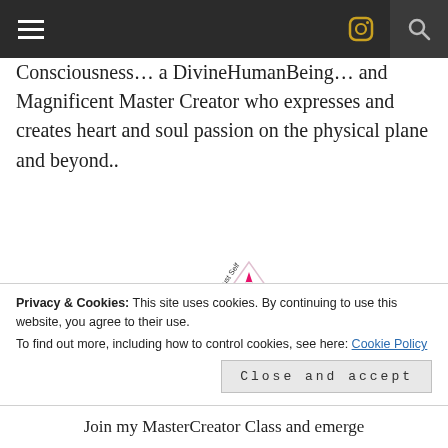Navigation bar with hamburger menu, Instagram icon, and search icon
Consciousness… a DivineHumanBeing… and Magnificent Master Creator who expresses and creates heart and soul passion on the physical plane and beyond..
[Figure (logo): Colorful star/lotus logo with text: Love & Trust Self, Understand & Accept All Life, Celebrate YOU]
Privacy & Cookies: This site uses cookies. By continuing to use this website, you agree to their use.
To find out more, including how to control cookies, see here: Cookie Policy
Close and accept
Join my MasterCreator Class and emerge